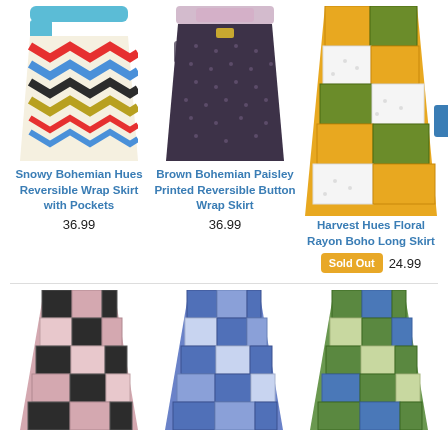[Figure (photo): Snowy Bohemian Hues Reversible Wrap Skirt with Pockets - colorful zigzag patterned short wrap skirt with blue waistband and pocket]
Snowy Bohemian Hues Reversible Wrap Skirt with Pockets
36.99
[Figure (photo): Brown Bohemian Paisley Printed Reversible Button Wrap Skirt - dark brown dotted short wrap skirt with paisley trim and pocket]
Brown Bohemian Paisley Printed Reversible Button Wrap Skirt
36.99
[Figure (photo): Harvest Hues Floral Rayon Boho Long Skirt - long skirt with yellow, green, and white patchwork floral pattern]
Harvest Hues Floral Rayon Boho Long Skirt
Sold Out  24.99
[Figure (photo): Pink and black patchwork long boho skirt]
[Figure (photo): Blue patchwork long boho skirt]
[Figure (photo): Green and blue patchwork long boho skirt]